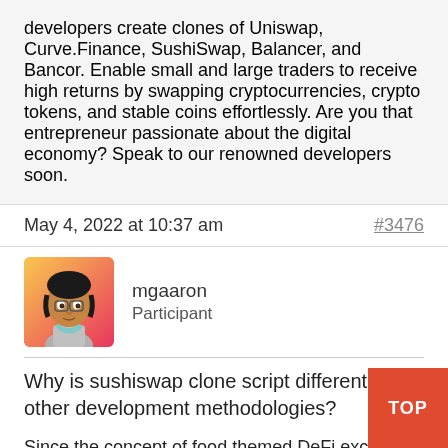developers create clones of Uniswap, Curve.Finance, SushiSwap, Balancer, and Bancor. Enable small and large traders to receive high returns by swapping cryptocurrencies, crypto tokens, and stable coins effortlessly. Are you that entrepreneur passionate about the digital economy? Speak to our renowned developers soon.
May 4, 2022 at 10:37 am
#3476
mgaaron
Participant
Why is sushiswap clone script different from other development methodologies?
Since the concept of food themed DeFi exchange is at a peak, most startups are willing to launch their own Food themed DeFi Exchange in the Crypto Market with their secret revenue generating...